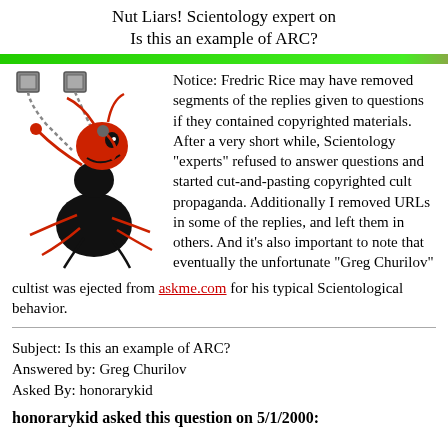Nut Liars! Scientology expert on
Is this an example of ARC?
[Figure (illustration): Cartoon ant chained to blocks, depicted in red and black, with text SCIENTOLOGY FREEDOM below]
Notice: Fredric Rice may have removed segments of the replies given to questions if they contained copyrighted materials. After a very short while, Scientology "experts" refused to answer questions and started cut-and-pasting copyrighted cult propaganda. Additionally I removed URLs in some of the replies, and left them in others. And it's also important to note that eventually the unfortunate "Greg Churilov" cultist was ejected from askme.com for his typical Scientological behavior.
Subject: Is this an example of ARC?
Answered by: Greg Churilov
Asked By: honorarykid
honorarykid asked this question on 5/1/2000: